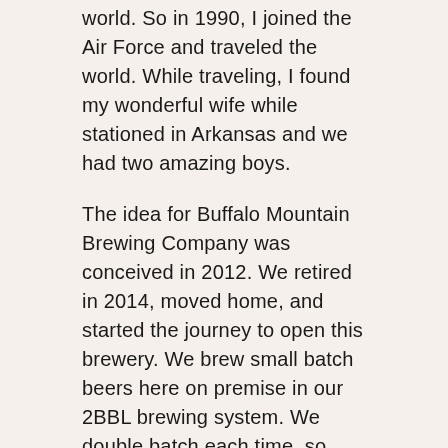world. So in 1990, I joined the Air Force and traveled the world. While traveling, I found my wonderful wife while stationed in Arkansas and we had two amazing boys.
The idea for Buffalo Mountain Brewing Company was conceived in 2012. We retired in 2014, moved home, and started the journey to open this brewery. We brew small batch beers here on premise in our 2BBL brewing system. We double batch each time, so 4BBL's of beer goes into each fermentation tank. We'll brew many different styles of beer as time progresses.
Some will be limited releases others will remain on tap or return periodically.
The name McDaniel's Tavern is a tribute to my Scots-Irish 5th generation great grandfather,